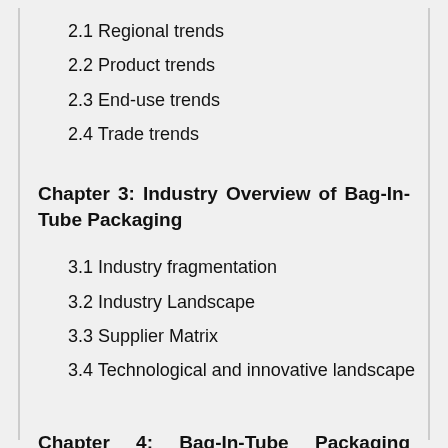2.1 Regional trends
2.2 Product trends
2.3 End-use trends
2.4 Trade trends
Chapter 3: Industry Overview of Bag-In-Tube Packaging
3.1 Industry fragmentation
3.2 Industry Landscape
3.3 Supplier Matrix
3.4 Technological and innovative landscape
Chapter 4: Bag-In-Tube Packaging Market, By Region